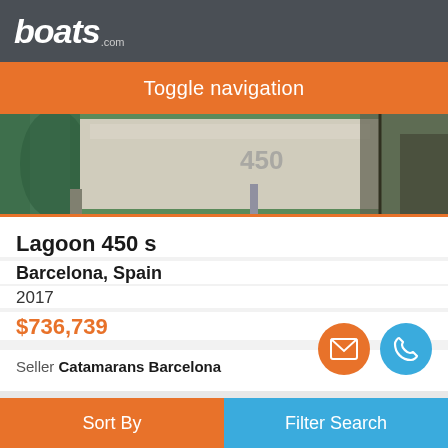boats.com
Toggle navigation
[Figure (photo): Close-up of a boat hull, partially visible, docked at a marina. The number '450' is visible on the hull.]
Lagoon 450 s
Barcelona, Spain
2017
$736,739
Seller Catamarans Barcelona
[Figure (photo): Sailboat masts against a blue sky, partially visible from below. A photo badge showing '40' is visible in the bottom right.]
Sort By
Filter Search